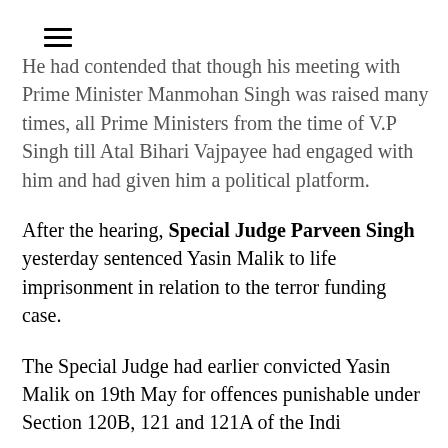≡
He had contended that though his meeting with Prime Minister Manmohan Singh was raised many times, all Prime Ministers from the time of V.P Singh till Atal Bihari Vajpayee had engaged with him and had given him a political platform.
After the hearing, Special Judge Parveen Singh yesterday sentenced Yasin Malik to life imprisonment in relation to the terror funding case.
The Special Judge had earlier convicted Yasin Malik on 19th May for offences punishable under Section 120B, 121 and 121A of the Indi...